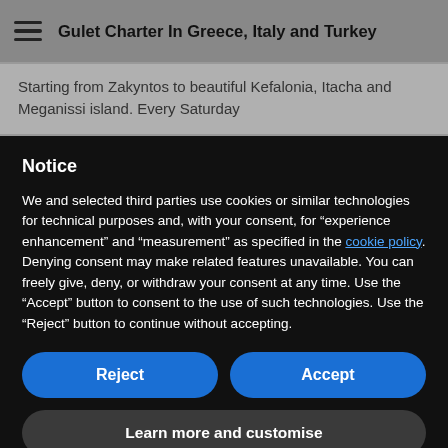Gulet Charter In Greece, Italy and Turkey
Starting from Zakyntos to beautiful Kefalonia, Itacha and Meganissi island. Every Saturday
Notice
We and selected third parties use cookies or similar technologies for technical purposes and, with your consent, for “experience enhancement” and “measurement” as specified in the cookie policy. Denying consent may make related features unavailable. You can freely give, deny, or withdraw your consent at any time. Use the “Accept” button to consent to the use of such technologies. Use the “Reject” button to continue without accepting.
Reject | Accept
Learn more and customise